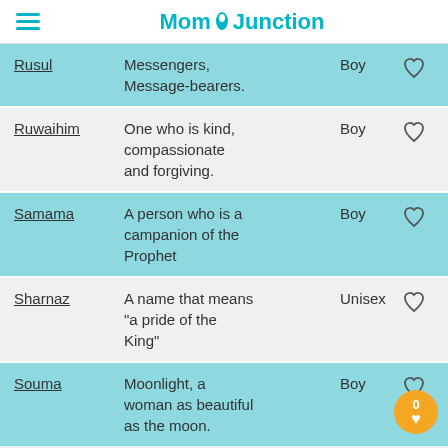MomJunction
| Name | Meaning | Gender |  |
| --- | --- | --- | --- |
| Rusul | Messengers, Message-bearers. | Boy | ♡ |
| Ruwaihim | One who is kind, compassionate and forgiving. | Boy | ♡ |
| Samama | A person who is a campanion of the Prophet | Boy | ♡ |
| Sharnaz | A name that means "a pride of the King" | Unisex | ♡ |
| Souma | Moonlight, a woman as beautiful as the moon. | Boy | ♡ |